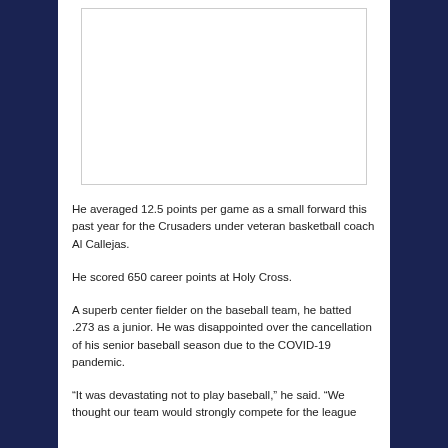[Figure (photo): Blank white image placeholder with border]
He averaged 12.5 points per game as a small forward this past year for the Crusaders under veteran basketball coach Al Callejas.
He scored 650 career points at Holy Cross.
A superb center fielder on the baseball team, he batted .273 as a junior. He was disappointed over the cancellation of his senior baseball season due to the COVID-19 pandemic.
“It was devastating not to play baseball,” he said. “We thought our team would strongly compete for the league